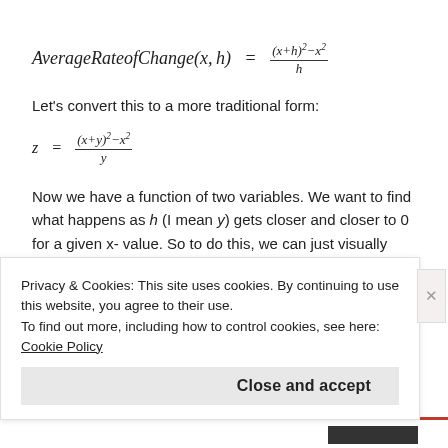Let's convert this to a more traditional form:
Now we have a function of two variables. We want to find what happens as h (I mean y) gets closer and closer to 0 for a given x-value. So to do this, we can just visually look at what happens to the function near y=0. Even though the function will be undefined at all
Privacy & Cookies: This site uses cookies. By continuing to use this website, you agree to their use.
To find out more, including how to control cookies, see here: Cookie Policy
Close and accept